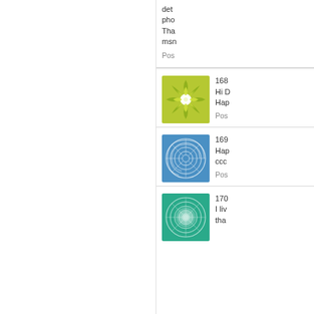det... pho... Tha... msn...
Pos...
[Figure (illustration): Yellow-green flower mandala avatar icon]
168... Hi D... Hap...
Pos...
[Figure (illustration): Blue spiral geometric pattern avatar icon]
169... Hap... ccc...
Pos...
[Figure (illustration): Teal/green spiral geometric pattern avatar icon]
170... I liv... tha...